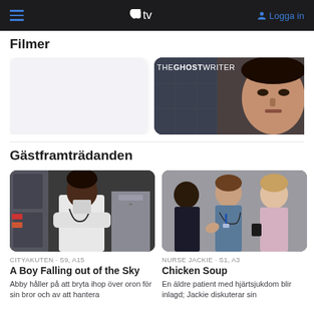Apple TV – navigation bar with hamburger menu, Apple TV logo, Logga in
Filmer
[Figure (screenshot): Blank white rounded rectangle thumbnail placeholder for a film]
[Figure (screenshot): The Ghost Writer movie poster/thumbnail showing a man's face with a city street reflection and THE GHOSTWRITER title text]
Gästframträdanden
[Figure (screenshot): A young Black man in a white doctor's coat with stethoscope, standing with arms crossed in a medical setting]
CITYAKUTEN · S9, A15
A Boy Falling out of the Sky
Abby håller på att bryta ihop över oron för sin bror och av att hantera
[Figure (screenshot): Hospital scene with nurses in scrubs having a conversation, Nurse Jackie episode still]
NURSE JACKIE · S1, A3
Chicken Soup
En äldre patient med hjärtsjukdom blir inlagd; Jackie diskuterar sin